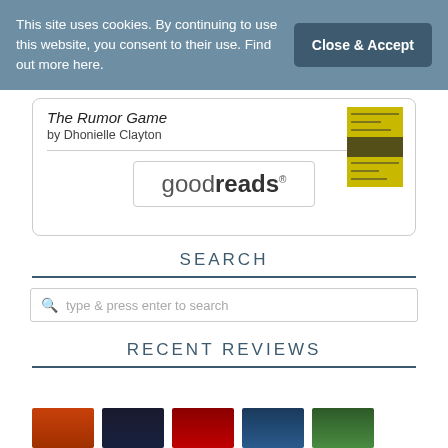This site uses cookies. By continuing to use this website, you consent to their use. Find out more here.
Close & Accept
The Rumor Game
by Dhonielle Clayton
[Figure (logo): goodreads logo inside a rounded rectangle border]
SEARCH
type & press enter to search
RECENT REVIEWS
[Figure (photo): Row of book cover thumbnails for recent reviews: Katherine, dark cover, GOD, Sarah & Mia, and a green cover]